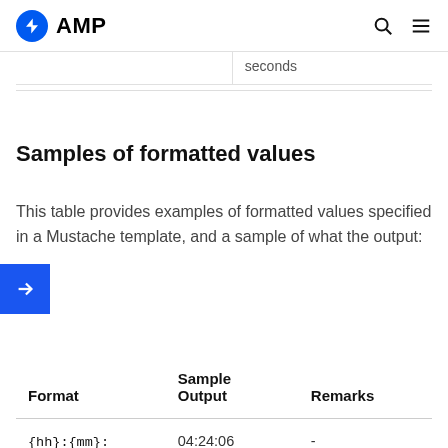AMP
|  | seconds |
Samples of formatted values
This table provides examples of formatted values specified in a Mustache template, and a sample of what the output:
| Format | Sample Output | Remarks |
| --- | --- | --- |
| {hh}:{mm}:{ss} | 04:24:06 | - |
| {h} {hours} | 4 hours | - |